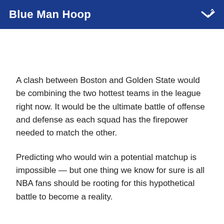Blue Man Hoop
A clash between Boston and Golden State would be combining the two hottest teams in the league right now. It would be the ultimate battle of offense and defense as each squad has the firepower needed to match the other.
Predicting who would win a potential matchup is impossible — but one thing we know for sure is all NBA fans should be rooting for this hypothetical battle to become a reality.